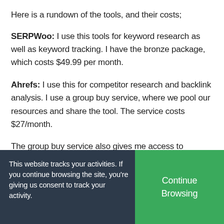Here is a rundown of the tools, and their costs;
SERPWoo: I use this tools for keyword research as well as keyword tracking. I have the bronze package, which costs $49.99 per month.
Ahrefs: I use this for competitor research and backlink analysis. I use a group buy service, where we pool our resources and share the tool. The service costs $27/month.
The group buy service also gives me access to
This website tracks your activities. If you continue browsing the site, you're giving us consent to track your activity.
Continue Browsing